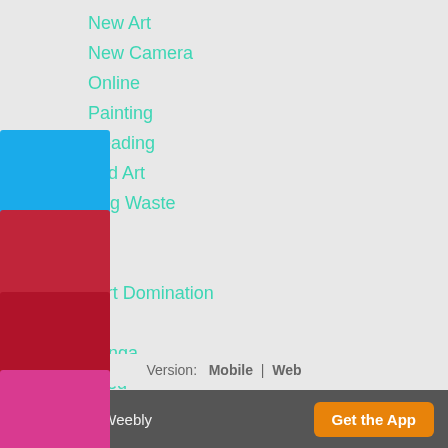New Art
New Camera
Online
Painting
Reading
…cled Art
…cing Waste
…ls
…ry
World Art Domination
…ng
Tarrawonga
…SS Feed
[Figure (other): Four colored square swatches: dark blue, sky blue, red/crimson, dark red, pink/magenta]
Version:  Mobile  |  Web
Created with Weebly   Get the App